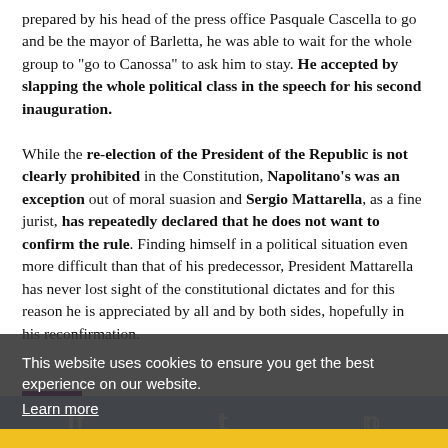prepared by his head of the press office Pasquale Cascella to go and be the mayor of Barletta, he was able to wait for the whole group to "go to Canossa" to ask him to stay. He accepted by slapping the whole political class in the speech for his second inauguration.

While the re-election of the President of the Republic is not clearly prohibited in the Constitution, Napolitano's was an exception out of moral suasion and Sergio Mattarella, as a fine jurist, has repeatedly declared that he does not want to confirm the rule. Finding himself in a political situation even more difficult than that of his predecessor, President Mattarella has never lost sight of the constitutional dictates and for this reason he is appreciated by all and by both sides, hopefully in his reconfirmation.
This website uses cookies to ensure you get the best experience on our website.
Learn more
Got it!